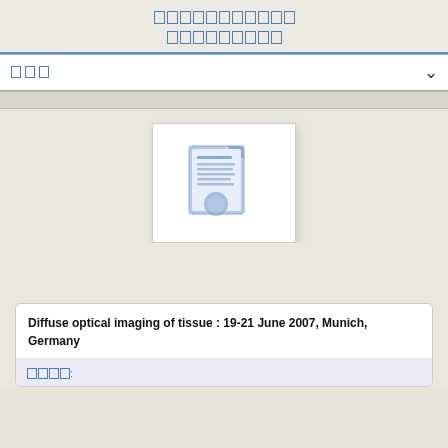[non-Latin title text] [non-Latin subtitle]
[dropdown placeholder]
[Figure (illustration): Document/file icon — a stylized blue paper document with text lines and a circular seal/stamp at the bottom, shown as a thumbnail preview card with white background]
Diffuse optical imaging of tissue : 19-21 June 2007, Munich, Germany
[non-Latin label]: